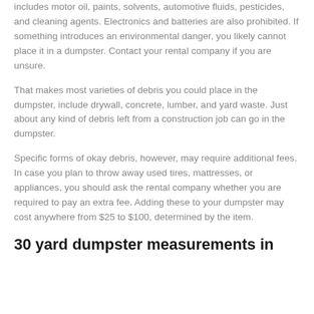includes motor oil, paints, solvents, automotive fluids, pesticides, and cleaning agents. Electronics and batteries are also prohibited. If something introduces an environmental danger, you likely cannot place it in a dumpster. Contact your rental company if you are unsure.
That makes most varieties of debris you could place in the dumpster, include drywall, concrete, lumber, and yard waste. Just about any kind of debris left from a construction job can go in the dumpster.
Specific forms of okay debris, however, may require additional fees. In case you plan to throw away used tires, mattresses, or appliances, you should ask the rental company whether you are required to pay an extra fee. Adding these to your dumpster may cost anywhere from $25 to $100, determined by the item.
30 yard dumpster measurements in